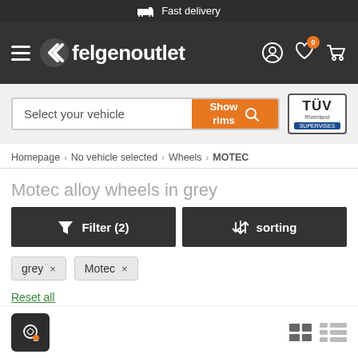Fast delivery
[Figure (screenshot): felgenoutlet website navigation bar with hamburger menu, logo, user icon, wishlist icon with badge 0, and cart icon]
Select your vehicle  Show rims
Homepage › No vehicle selected › Wheels › MOTEC
Motec alloy wheels in grey
Filter (2)  sorting
grey ×
Motec ×
Reset all